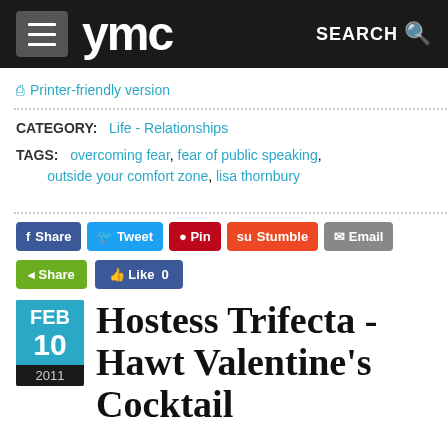ymc SEARCH
Printer-friendly version
CATEGORY: Life - Relationships
TAGS: overcoming fear, fear of public speaking, outside your comfort zone, lisa thornbury
Share Tweet Pin Stumble Email Share Like 0
Hostess Trifecta - Hawt Valentine's Cocktail
FEB 10 2011